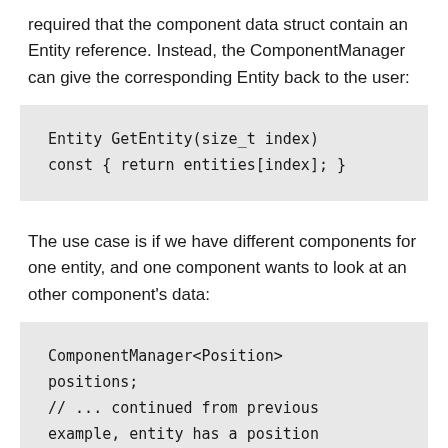required that the component data struct contain an Entity reference. Instead, the ComponentManager can give the corresponding Entity back to the user:
The use case is if we have different components for one entity, and one component wants to look at an other component's data: